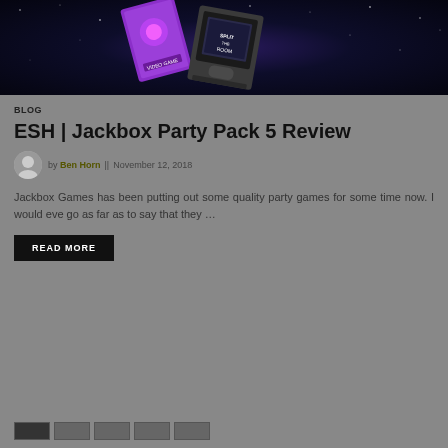[Figure (photo): Hero image showing Jackbox Party Pack 5 game boxes floating in a dark starry space background. Visible game boxes include a purple card game and a retro TV-style game.]
BLOG
ESH | Jackbox Party Pack 5 Review
by Ben Horn || November 12, 2018
Jackbox Games has been putting out some quality party games for some time now. I would eve go as far as to say that they …
READ MORE